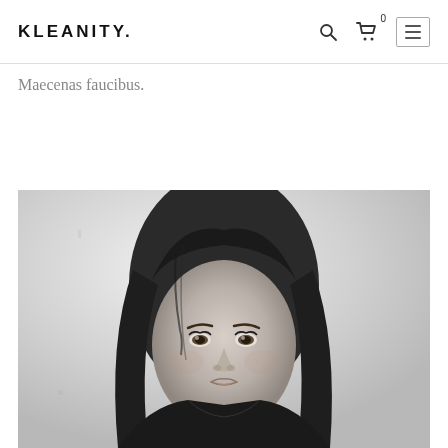KLEANITY.
Maecenas faucibus.
[Figure (photo): Black and white portrait photograph of a young woman with long dark hair, looking at the camera with a neutral expression. Light/white background. She is wearing a dark top.]